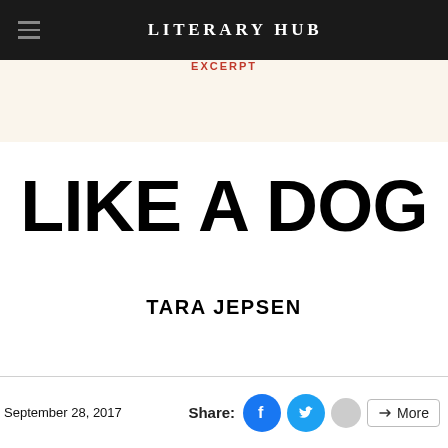LITERARY HUB
EXCERPT
LIKE A DOG
TARA JEPSEN
September 28, 2017  Share: [Facebook] [Twitter] [...] More